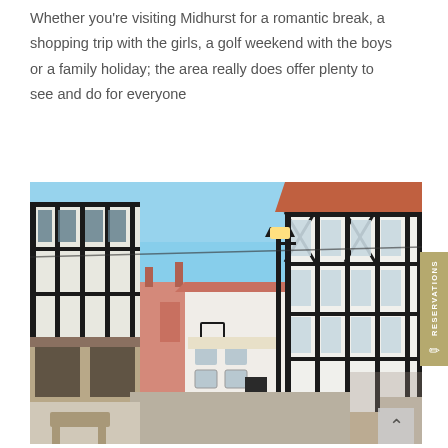Whether you're visiting Midhurst for a romantic break, a shopping trip with the girls, a golf weekend with the boys or a family holiday; the area really does offer plenty to see and do for everyone
[Figure (photo): Street scene of Midhurst showing historic Tudor-style half-timbered buildings along a narrow road under a blue sky. A black lamp post is visible in the center, and a white pub or inn building stands at the end of the street.]